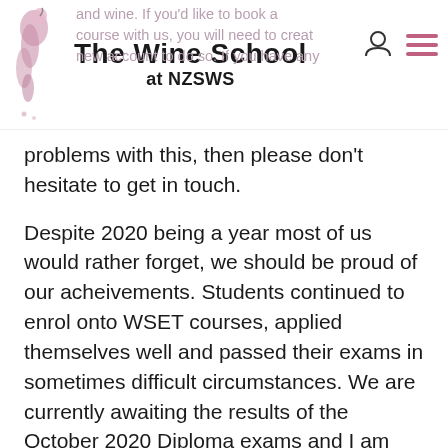The Wine School at NZSWS
and wine. If you'd like to book a course with us, you will need to create a new account to do so. If you have any problems with this, then please don't hesitate to get in touch.
Despite 2020 being a year most of us would rather forget, we should be proud of our acheivements. Students continued to enrol onto WSET courses, applied themselves well and passed their exams in sometimes difficult circumstances. We are currently awaiting the results of the October 2020 Diploma exams and I am confident we'll be congratulating a record number of new graduates.
I think our exam success is in no small